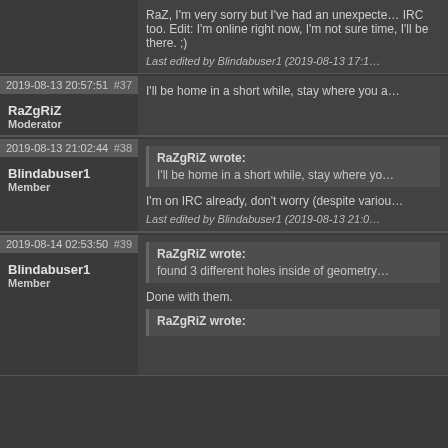RaZ, I'm very sorry but I've had an unexpected... IRC too. Edit: I'm online right now, I'm not sure... time, I'll be there. ;)
Last edited by Blindabuser1 (2019-08-13 17:1...
2019-08-13 20:57:51 #37
RaZgRiZ
Moderator
I'll be home in a short while, stay where you a...
2019-08-13 21:02:44 #38
Blindabuser1
Member
RaZgRiZ wrote:
I'll be home in a short while, stay where yo...
I'm on IRC already, don't worry (despite variou...
Last edited by Blindabuser1 (2019-08-13 21:0...
2019-08-14 02:53:50 #39
Blindabuser1
Member
RaZgRiZ wrote:
found 3 different holes inside of geometry...
Done with them.
RaZgRiZ wrote: